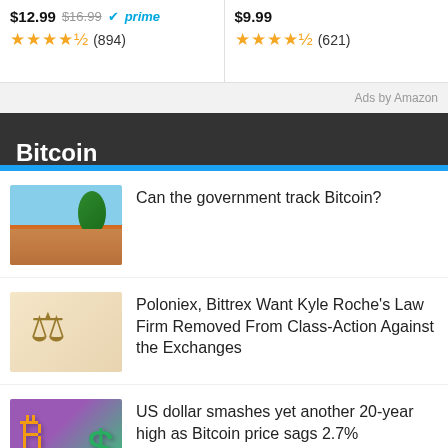[Figure (screenshot): Amazon ad banner showing two products with prices, ratings, and review counts. Left: $12.99 (was $16.99) Prime, 4.5 stars (894). Right: $9.99, 4.5 stars (621).]
Ads by Amazon
Bitcoin
Can the government track Bitcoin?
Poloniex, Bittrex Want Kyle Roche's Law Firm Removed From Class-Action Against the Exchanges
US dollar smashes yet another 20-year high as Bitcoin price sags 2.7%